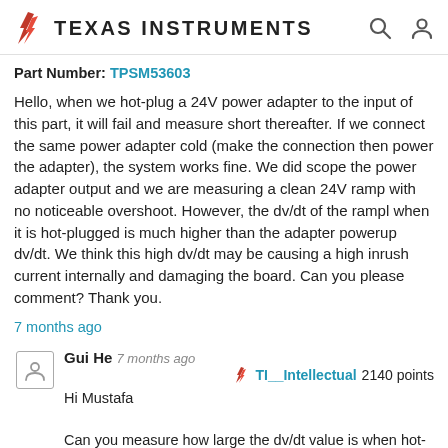Texas Instruments
Part Number: TPSM53603
Hello, when we hot-plug a 24V power adapter to the input of this part, it will fail and measure short thereafter. If we connect the same power adapter cold (make the connection then power the adapter), the system works fine. We did scope the power adapter output and we are measuring a clean 24V ramp with no noticeable overshoot. However, the dv/dt of the rampl when it is hot-plugged is much higher than the adapter powerup dv/dt. We think this high dv/dt may be causing a high inrush current internally and damaging the board. Can you please comment? Thank you.
7 months ago
Gui He  7 months ago
TI__Intellectual 2140 points
Hi Mustafa
Can you measure how large the dv/dt value is when hot-plug the power adapter? Thank you.